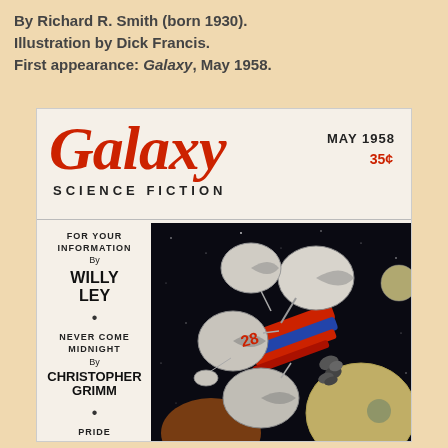By Richard R. Smith (born 1930). Illustration by Dick Francis. First appearance: Galaxy, May 1958.
[Figure (illustration): Cover of Galaxy Science Fiction magazine, May 1958, price 35 cents. Features the large red 'Galaxy' title in italic font, 'SCIENCE FICTION' subtitle, and a space illustration showing a spacecraft with circular dish components numbered '28', flying through space near planets. Left sidebar lists: 'FOR YOUR INFORMATION By WILLY LEY' and 'NEVER COME MIDNIGHT By CHRISTOPHER GRIMM' and 'PRIDE'.]